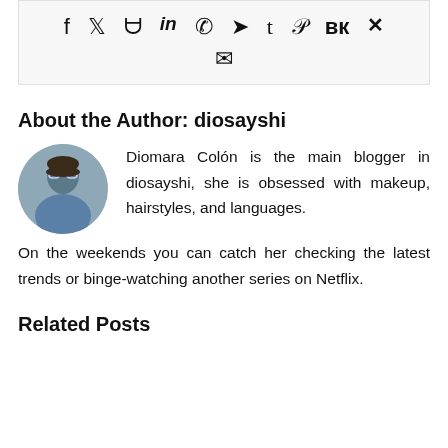[Figure (infographic): Social media share icons: Facebook, Twitter, Reddit, LinkedIn, WhatsApp, Telegram, Tumblr, Pinterest, VK, XING, and Email envelope icon]
About the Author: diosayshi
[Figure (photo): Circular profile photo of a woman with glasses and blue shirt]
Diomara Colón is the main blogger in diosayshi, she is obsessed with makeup, hairstyles, and languages. On the weekends you can catch her checking the latest trends or binge-watching another series on Netflix.
Related Posts